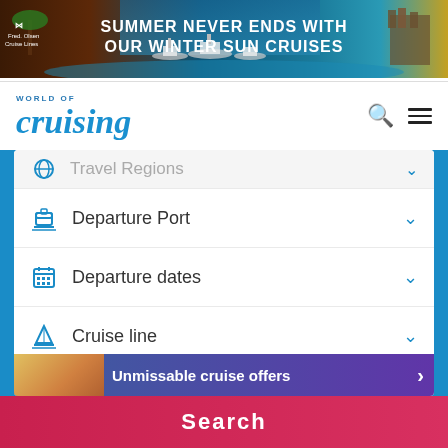[Figure (illustration): Fred. Olsen Cruise Lines banner advertisement: SUMMER NEVER ENDS WITH OUR WINTER SUN CRUISES, with cruise ships on tropical water background]
WORLD OF cruising
Travel Regions
Departure Port
Departure dates
Cruise line
Advanced Search +
Unmissable cruise offers
Search